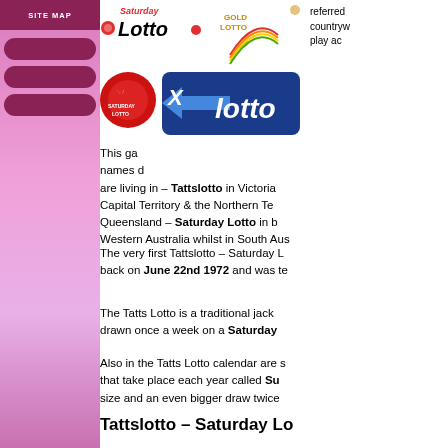[Figure (logo): Saturday Lotto, Gold Lotto, Saturday Lotto (red ball icon), and X Lotto logos]
referred countrywide play ac
This game names d are living in – Tattslotto in Victoria, Capital Territory & the Northern Te Queensland – Saturday Lotto in b Western Australia whilst in South Aus
The very first Tattslotto – Saturday L back on June 22nd 1972 and was te
The Tatts Lotto is a traditional jack drawn once a week on a Saturday
Also in the Tatts Lotto calendar are s that take place each year called Su size and an even bigger draw twice
Tattslotto – Saturday Lo